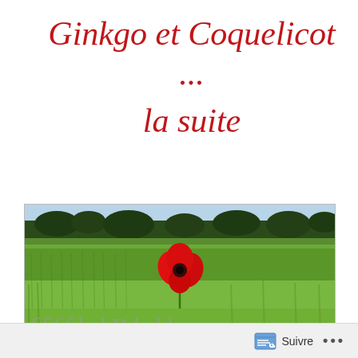Ginkgo et Coquelicot ... la suite
[Figure (photo): A wide panoramic photo of a green wheat field with a single red poppy flower (coquelicot) in the center, with dark green trees visible along the horizon and a pale blue sky above.]
cursive/script decorative text (partially visible, gray)
Suivre ...